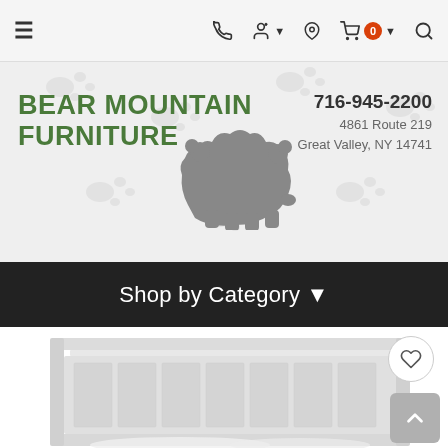Navigation bar with hamburger menu, phone icon, user icon, location icon, cart (0), and search icon
[Figure (logo): Bear Mountain Furniture logo with bear silhouette, phone number 716-945-2200, address 4861 Route 219, Great Valley, NY 14741]
Shop by Category ▾
[Figure (photo): White wooden bed headboard with vertical paneling and crown molding detail, shown with white bedding]
[Figure (other): Wishlist heart icon button (circle outline)]
[Figure (other): Scroll-to-top button (grey rounded square with up arrow)]